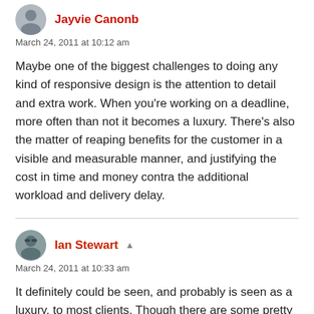[Figure (photo): Avatar photo of Jayvie Canonb, partially cropped at top]
Jayvie Canonb
March 24, 2011 at 10:12 am
Maybe one of the biggest challenges to doing any kind of responsive design is the attention to detail and extra work. When you're working on a deadline, more often than not it becomes a luxury. There's also the matter of reaping benefits for the customer in a visible and measurable manner, and justifying the cost in time and money contra the additional workload and delivery delay.
[Figure (photo): Avatar photo of Ian Stewart, a person wearing sunglasses]
Ian Stewart
March 24, 2011 at 10:33 am
It definitely could be seen, and probably is seen as a luxury, to most clients. Though there are some pretty